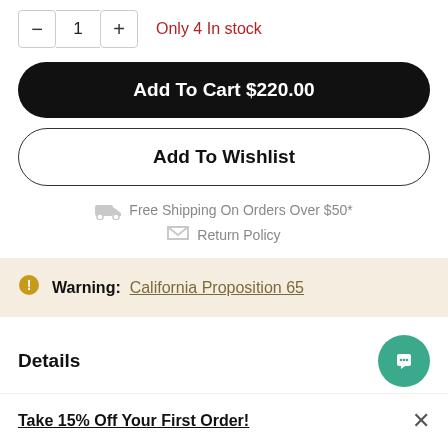– 1 + Only 4 In stock
Add To Cart $220.00
Add To Wishlist
Free Shipping On Orders Over $50*
Return Policy
Warning: California Proposition 65
Details
Take 15% Off Your First Order!